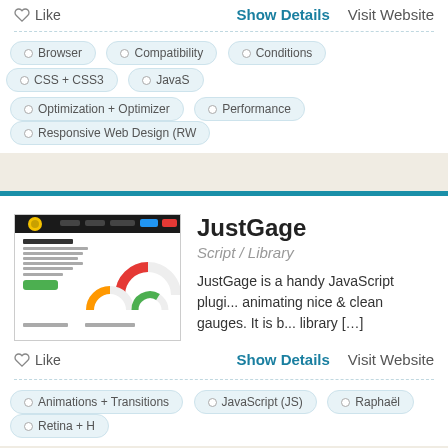Like
Show Details   Visit Website
Browser
Compatibility
Conditions
CSS + CSS3
JavaS...
Optimization + Optimizer
Performance
Responsive Web Design (RW...)
[Figure (screenshot): Screenshot of JustGage website showing gauge charts demo page]
JustGage
Script / Library
JustGage is a handy JavaScript plugi... animating nice & clean gauges. It is b... library [...]
Like
Show Details   Visit Website
Animations + Transitions
JavaScript (JS)
Raphaël
Retina + H...